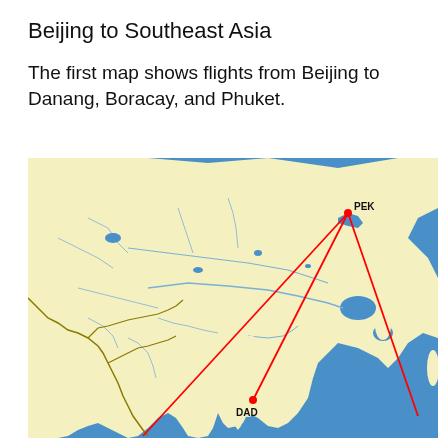Beijing to Southeast Asia
The first map shows flights from Beijing to Danang, Boracay, and Phuket.
[Figure (map): Map of East and Southeast Asia showing flight routes from Beijing (PEK) to Danang (DAD) and two other destinations, drawn as red lines on a yellow landmass / blue ocean map with blue river and border details.]